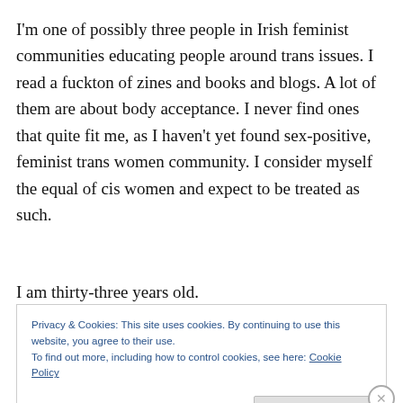I'm one of possibly three people in Irish feminist communities educating people around trans issues. I read a fuckton of zines and books and blogs. A lot of them are about body acceptance. I never find ones that quite fit me, as I haven't yet found sex-positive, feminist trans women community. I consider myself the equal of cis women and expect to be treated as such.
I am thirty-three years old.
Privacy & Cookies: This site uses cookies. By continuing to use this website, you agree to their use.
To find out more, including how to control cookies, see here: Cookie Policy
Close and accept